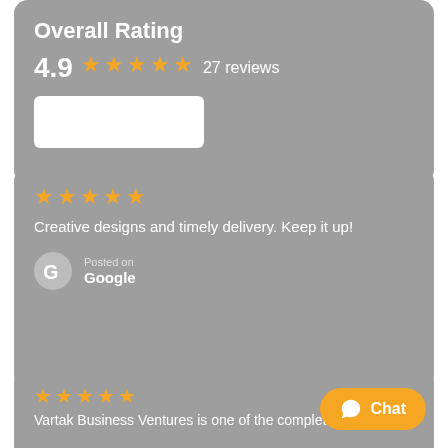Overall Rating
4.9  ★★★★★  27  reviews
[Figure (screenshot): White rectangle placeholder/image box]
★★★★★
Creative designs and timely delivery. Keep it up!
Posted on
Google
[Figure (logo): Google G logo icon in grey circle]
[Figure (other): Teal circle avatar with letter R]
★★★★★
Vartak Business Ventures is one of the complete
[Figure (other): Orange rounded Chat button with WhatsApp icon]